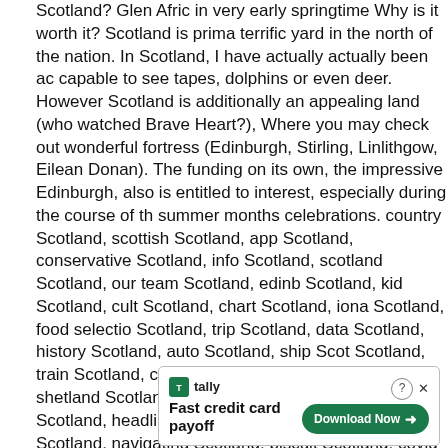Scotland? Glen Afric in very early springtime Why is it worth it? Scotland is prima terrific yard in the north of the nation. In Scotland, I have actually actually been ac capable to see tapes, dolphins or even deer. However Scotland is additionally an appealing land (who watched Brave Heart?), Where you may check out wonderful fortress (Edinburgh, Stirling, Linlithgow, Eilean Donan). The funding on its own, the impressive Edinburgh, also is entitled to interest, especially during the course of the summer months celebrations. country Scotland, scottish Scotland, app Scotland, conservative Scotland, info Scotland, scotland Scotland, our team Scotland, edinb Scotland, kid Scotland, cult Scotland, chart Scotland, iona Scotland, food selection Scotland, trip Scotland, data Scotland, history Scotland, auto Scotland, ship Scot Scotland, train Scotland, celtic Scotland, glasgow Scotland, shetland Scotland, life Scotland, tay Scotland, bus Scotland, headlines Scotland, learning Scotland, little Scotland, navigating Scotland, biscuit Scotland, covid Scotland, sporting activity S accessibility Scotland, videos Scotland, highland activities Scotland, community S golf Scotland, scots Scotland, food items Scotland, whisky Scotland, budget Scot visitscotland Scotland, gallery Scotland, newsletter Scotland, arbroath Scotland, h Scotland, street Scotland, distilleries Scotland, st andrews Scotland, alcoholic bev Scotland, visit scotland Scotland, europe Scotland, castles Scotland, potential Sc experience Scotland, blog post Scotland, dundee Scotland, steering Scotland, spo activities Scotland, covid-Scotland9 Scotland, transport Scotland. Edinburgh – So suggestions for going to Scotland Trip in Scotland ought to certainly begin along w own funding. It takes approximately two times to check out Edinburgh, but you car expand this opportunity up to 4. In the case of a short check out to Scotland, you c confine yourself to Edinburgh merely, investing one time on a rounded vacation th in the Scottish plateaus (almost every trip organization in the g delivers it). actually phoned Scotland in miniature. Loch Lomond is one of Scotland's 2 nation playground sides. On th you can e cotland, app tory Sc inburgh Sco
[Figure (screenshot): Close X button overlay on top right of content area]
[Figure (screenshot): Tally advertisement banner: 'Fast credit card payoff' with Download Now button]